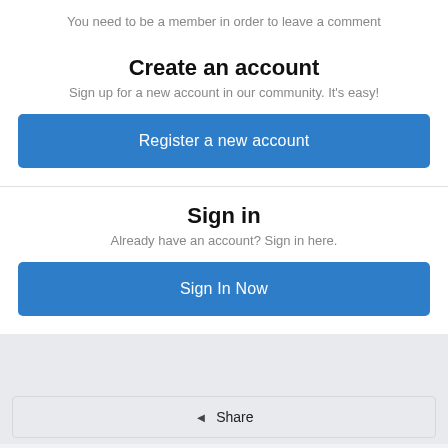You need to be a member in order to leave a comment
Create an account
Sign up for a new account in our community. It's easy!
Register a new account
Sign in
Already have an account? Sign in here.
Sign In Now
Share
Followers 0